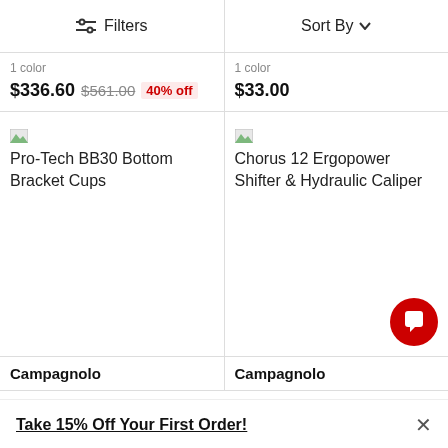Filters   Sort By
1 color
$336.60  $561.00  40% off
1 color
$33.00
[Figure (other): Product image placeholder for Pro-Tech BB30 Bottom Bracket Cups]
Pro-Tech BB30 Bottom Bracket Cups
[Figure (other): Product image placeholder for Chorus 12 Ergopower Shifter & Hydraulic Caliper]
Chorus 12 Ergopower Shifter & Hydraulic Caliper
Campagnolo
Campagnolo
Take 15% Off Your First Order!